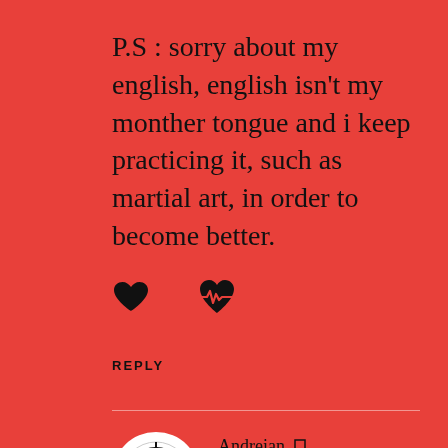P.S : sorry about my english, english isn't my monther tongue and i keep practicing it, such as martial art, in order to become better.
[Figure (illustration): Two heart icons: a solid black heart and a heart with a pulse/EKG line]
REPLY
Andreian [bookmark icon]
APRIL 12, 2018 AT 12:36 PM
Happy to help. Good luck on